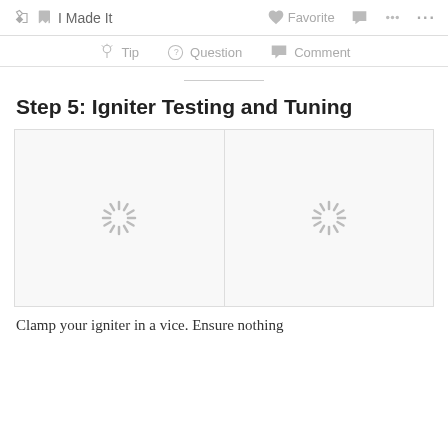I Made It  Favorite  Comment  Share  ...
Tip  Question  Comment
Step 5: Igniter Testing and Tuning
[Figure (photo): Two loading/placeholder images side by side showing spinning loader icons, indicating images are loading]
Clamp your igniter in a vice. Ensure nothing